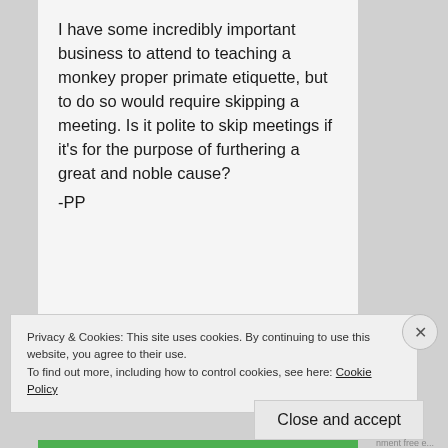I have some incredibly important business to attend to teaching a monkey proper primate etiquette, but to do so would require skipping a meeting. Is it polite to skip meetings if it's for the purpose of furthering a great and noble cause?
-PP
Privacy & Cookies: This site uses cookies. By continuing to use this website, you agree to their use.
To find out more, including how to control cookies, see here: Cookie Policy
Close and accept